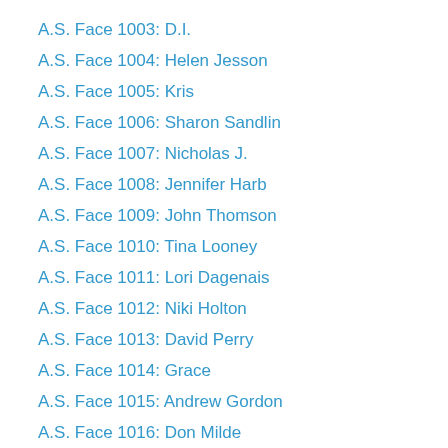A.S. Face 1003: D.I.
A.S. Face 1004: Helen Jesson
A.S. Face 1005: Kris
A.S. Face 1006: Sharon Sandlin
A.S. Face 1007: Nicholas J.
A.S. Face 1008: Jennifer Harb
A.S. Face 1009: John Thomson
A.S. Face 1010: Tina Looney
A.S. Face 1011: Lori Dagenais
A.S. Face 1012: Niki Holton
A.S. Face 1013: David Perry
A.S. Face 1014: Grace
A.S. Face 1015: Andrew Gordon
A.S. Face 1016: Don Milde
A.S. Face 1017: Chris Naylor
A.S. Face 1018: Cindy LeBlanc
A.S. Face 1019: Manon Roberge
A.S. Face 1020: Jordan Doss
A.S. Face 1021: Jonathan Doss
A.S. Face 1022: Kym Renting